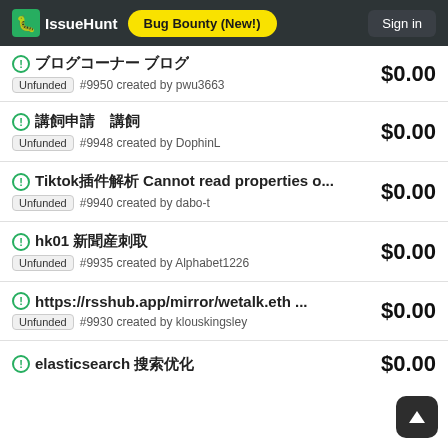IssueHunt | Bug Bounty (New!) | Sign in
ブログ #9950 created by pwu3663 $0.00 Unfunded
議題申請 #9948 created by DophinL $0.00 Unfunded
Tiktok插件解析 Cannot read properties o... #9940 created by dabo-t $0.00 Unfunded
hk01 新聞爬取 #9935 created by Alphabet1226 $0.00 Unfunded
https://rsshub.app/mirror/wetalk.eth ... #9930 created by klouskingsley $0.00 Unfunded
elasticsearch 搜索优化 $0.00 Unfunded